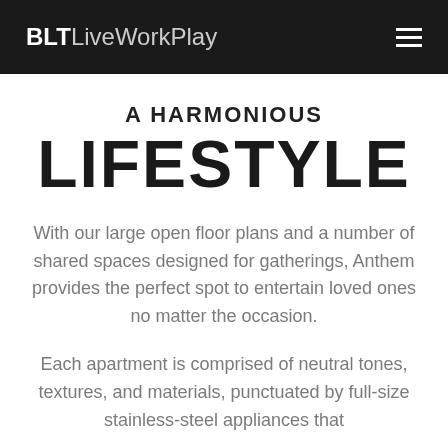BLTLiveWorkPlay [hamburger menu]
A HARMONIOUS LIFESTYLE
With our large open floor plans and a number of shared spaces designed for gatherings, Anthem provides the perfect spot to entertain loved ones no matter the occasion.
Each apartment is comprised of neutral tones, textures, and materials, punctuated by full-size stainless-steel appliances that